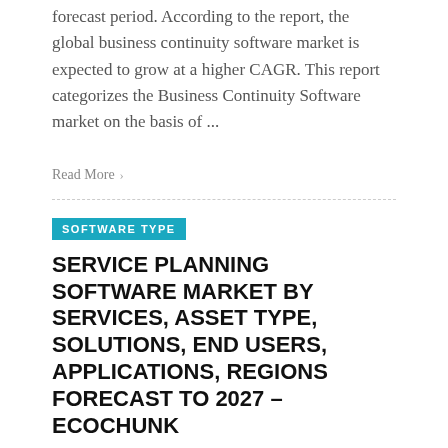forecast period. According to the report, the global business continuity software market is expected to grow at a higher CAGR. This report categorizes the Business Continuity Software market on the basis of ...
Read More
SOFTWARE TYPE
SERVICE PLANNING SOFTWARE MARKET BY SERVICES, ASSET TYPE, SOLUTIONS, END USERS, APPLICATIONS, REGIONS FORECAST TO 2027 – ECOCHUNK
RILEY H. FARFAN   OCTOBER 8, 2021
The Service Planning Software Market The research report includes industry forecast, verifiable statistics, comparative data, market size and volume, as well as qualitative